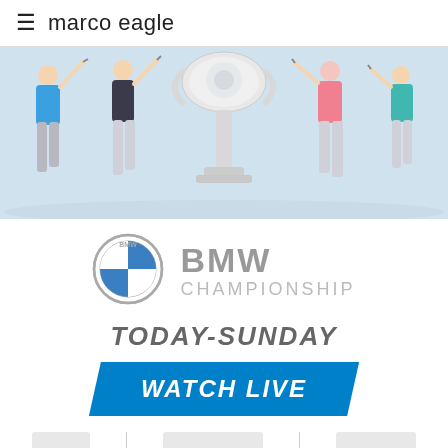≡ marco eagle
[Figure (photo): Four golfers mid-swing posed around a large silver trophy against a light background]
[Figure (logo): BMW circular logo with blue and white quadrants]
BMW CHAMPIONSHIP
TODAY-SUNDAY
WATCH LIVE